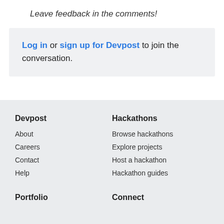Leave feedback in the comments!
Log in or sign up for Devpost to join the conversation.
Devpost
About
Careers
Contact
Help
Hackathons
Browse hackathons
Explore projects
Host a hackathon
Hackathon guides
Portfolio
Connect